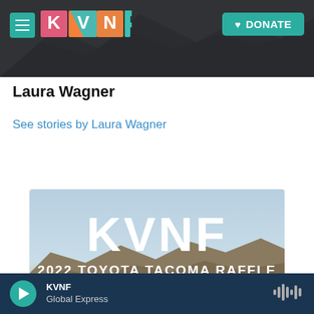KVNF — DONATE
Laura Wagner
See stories by Laura Wagner
[Figure (photo): KVNF 2022 Toyota Tacoma Raffle promotional image with 'WE HAVE A' text at bottom, desert landscape background]
KVNF — Global Express